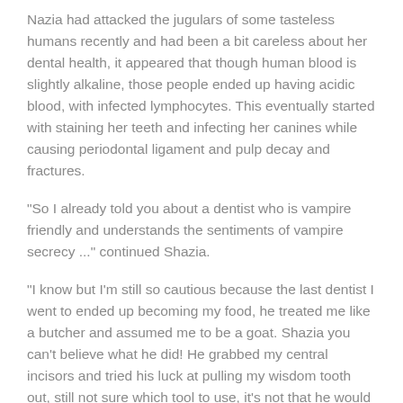Nazia had attacked the jugulars of some tasteless humans recently and had been a bit careless about her dental health, it appeared that though human blood is slightly alkaline, those people ended up having acidic blood, with infected lymphocytes. This eventually started with staining her teeth and infecting her canines while causing periodontal ligament and pulp decay and fractures.
"So I already told you about a dentist who is vampire friendly and understands the sentiments of vampire secrecy ..." continued Shazia.
"I know but I'm still so cautious because the last dentist I went to ended up becoming my food, he treated me like a butcher and assumed me to be a goat. Shazia you can't believe what he did! He grabbed my central incisors and tried his luck at pulling my wisdom tooth out, still not sure which tool to use, it's not that he would have treated a vampire for the first time. But I felt like a goat that is being skinned before being slaughtered."
"Hell no! You drank him up? Aaoooooo!" laughed Shazia.
"Grow up you silly human, you are not what you think you are or can be ...